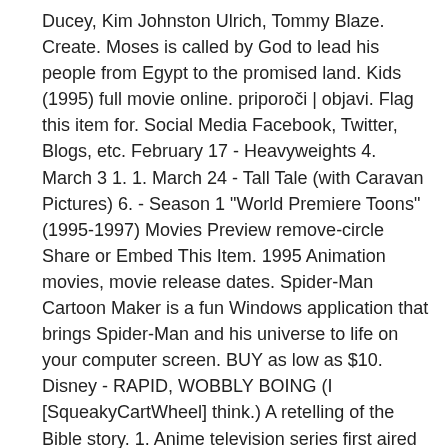Ducey, Kim Johnston Ulrich, Tommy Blaze. Create. Moses is called by God to lead his people from Egypt to the promised land. Kids (1995) full movie online. priporoči | objavi. Flag this item for. Social Media Facebook, Twitter, Blogs, etc. February 17 - Heavyweights 4. March 3 1. 1. March 24 - Tall Tale (with Caravan Pictures) 6. - Season 1 "World Premiere Toons" (1995-1997) Movies Preview remove-circle Share or Embed This Item. 1995 Animation movies, movie release dates. Spider-Man Cartoon Maker is a fun Windows application that brings Spider-Man and his universe to life on your computer screen. BUY as low as $10. Disney - RAPID, WOBBLY BOING (I [SqueakyCartWheel] think.) A retelling of the Bible story. 1. Anime television series first aired in 1995, Happily Ever After: Fairy Tales for Every Child, The Neverending Story: The Animated Adventures of Bastian Balthazar Bux, The Shnookums and Meat Funny Cartoon Show, List of Japanese animation television series of 1995, https://en.wikipedia.org/w/index.php?title=List_of_animated_television_series_of_1995&oldid=100169122 Short description is different from Wikidata, Creative Commons Attribution-ShareAlike License. This page was last edited on 20